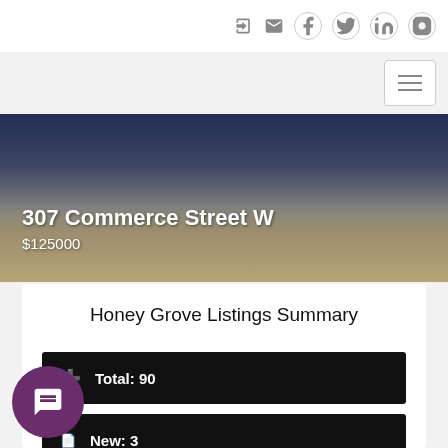Social/nav icons and menu button
[Figure (photo): Exterior photo of property at 307 Commerce Street W, showing building facade with dark blue upper portion and sandy ground area. Text overlay shows address and price.]
307 Commerce Street W
$125000
Honey Grove Listings Summary
Total: 90
New: 3